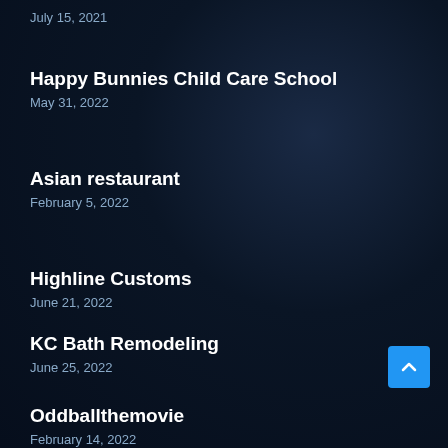July 15, 2021
Happy Bunnies Child Care School
May 31, 2022
Asian restaurant
February 5, 2022
Highline Customs
June 21, 2022
KC Bath Remodeling
June 25, 2022
Oddballthemovie
February 14, 2022